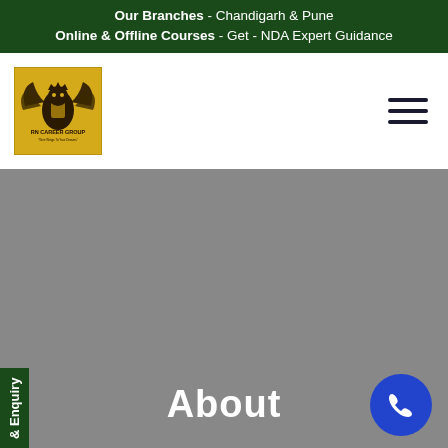Our Branches - Chandigarh & Pune
Online & Offline Courses - Get - NDA Expert Guidance
[Figure (logo): RN Career Group logo — golden background with eagle/crest emblem and text 'RN CAREER GROUP']
About
Enquiry